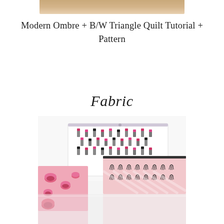[Figure (photo): Partial top photo strip showing a blurred warm-toned image at the top of the page]
Modern Ombre + B/W Triangle Quilt Tutorial + Pattern
Fabric
[Figure (photo): Photo of fabric pouches/bags with lipstick print pattern and eyelash print pattern on pink fabric, displayed on a white surface]